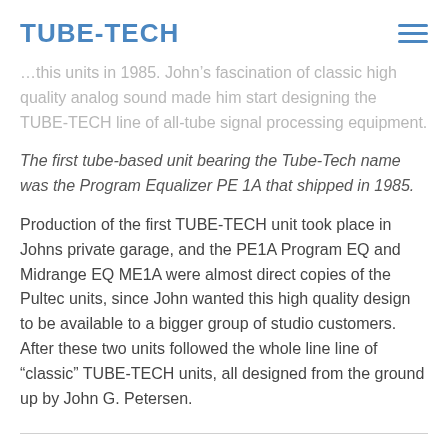TUBE-TECH
...this units in 1985. John's fascination of classic high quality analog sound made him start designing the TUBE-TECH line of all-tube signal processing equipment.
The first tube-based unit bearing the Tube-Tech name was the Program Equalizer PE 1A that shipped in 1985.
Production of the first TUBE-TECH unit took place in Johns private garage, and the PE1A Program EQ and Midrange EQ ME1A were almost direct copies of the Pultec units, since John wanted this high quality design to be available to a bigger group of studio customers. After these two units followed the whole line line of “classic” TUBE-TECH units, all designed from the ground up by John G. Petersen.